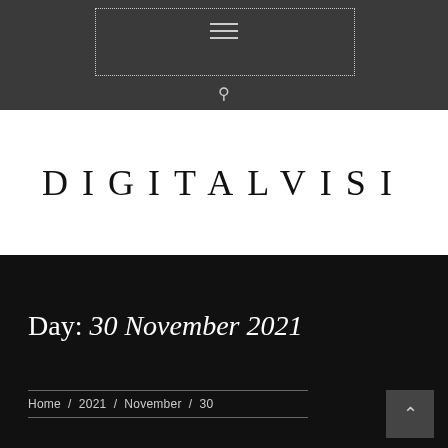Navigation bar with hamburger menu and search icon
DIGITALVISI
Day: 30 November 2021
Home / 2021 / November / 30